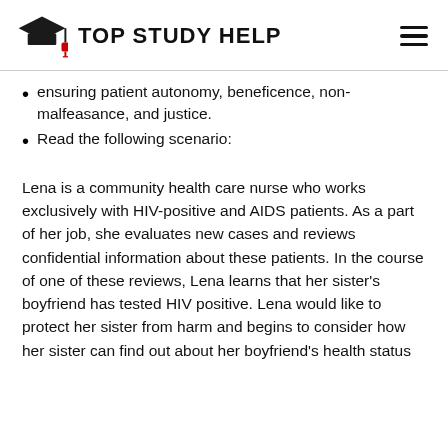TOP STUDY HELP
ensuring patient autonomy, beneficence, non-malfeasance, and justice.
Read the following scenario:
Lena is a community health care nurse who works exclusively with HIV-positive and AIDS patients. As a part of her job, she evaluates new cases and reviews confidential information about these patients. In the course of one of these reviews, Lena learns that her sister’s boyfriend has tested HIV positive. Lena would like to protect her sister from harm and begins to consider how her sister can find out about her boyfriend’s health status